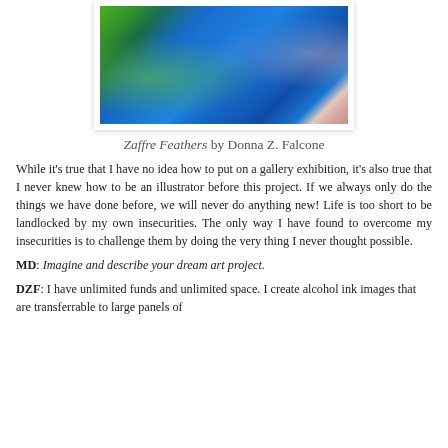[Figure (photo): Abstract alcohol ink painting with swirling blue, green, and pink colors titled Zaffre Feathers]
Zaffre Feathers by Donna Z. Falcone
While it's true that I have no idea how to put on a gallery exhibition, it's also true that I never knew how to be an illustrator before this project. If we always only do the things we have done before, we will never do anything new! Life is too short to be landlocked by my own insecurities. The only way I have found to overcome my insecurities is to challenge them by doing the very thing I never thought possible.
MD: Imagine and describe your dream art project.
DZF: I have unlimited funds and unlimited space. I create alcohol ink images that are transferrable to large panels of